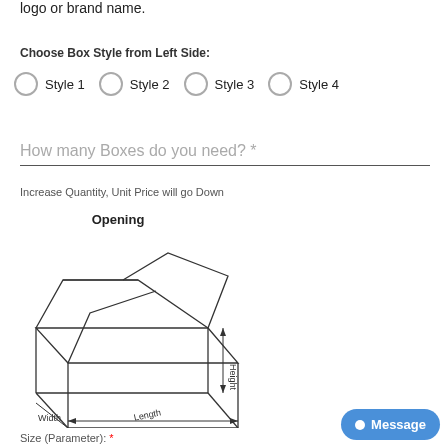logo or brand name.
Choose Box Style from Left Side:
Style 1
Style 2
Style 3
Style 4
How many Boxes do you need? *
Increase Quantity, Unit Price will go Down
[Figure (illustration): Line drawing of an open cardboard box showing Opening at top, with labeled dimensions: Width, Length, and Height.]
Size (Parameter): *